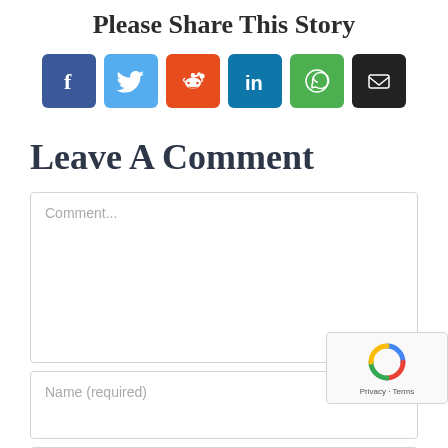Please Share This Story
[Figure (infographic): Row of six social media share buttons: Facebook (blue), Twitter (light blue), Reddit (orange-red), LinkedIn (teal), WhatsApp (green), Email (black)]
Leave A Comment
Comment...
Name (required)